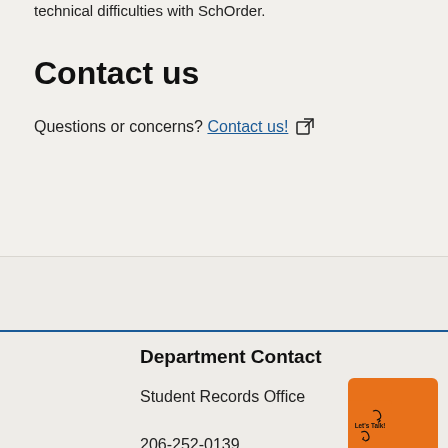technical difficulties with SchOrder.
Contact us
Questions or concerns? Contact us!
Department Contact
Student Records Office
archives@seattleschools.org
206-252-0139